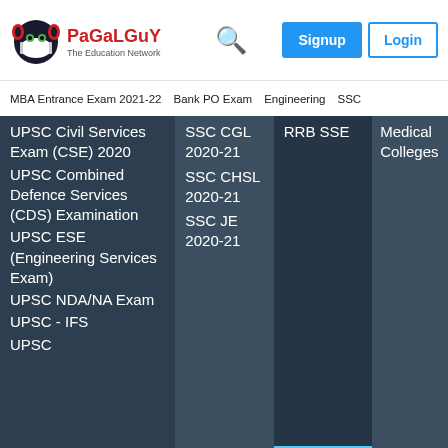[Figure (logo): PaGaLGuY - The Education Network logo with mascot icon]
Signup  Login
MBA Entrance Exam 2021-22   Bank PO Exam   Engineering   SSC
UPSC Civil Services Exam (CSE) 2020
UPSC Combined Defence Services (CDS) Examination
UPSC ESE (Engineering Services Exam)
UPSC NDA/NA Exam
UPSC - IFS
UPSC
SSC CGL 2020-21
SSC CHSL 2020-21
SSC JE 2020-21
RRB SSE
Medical Colleges